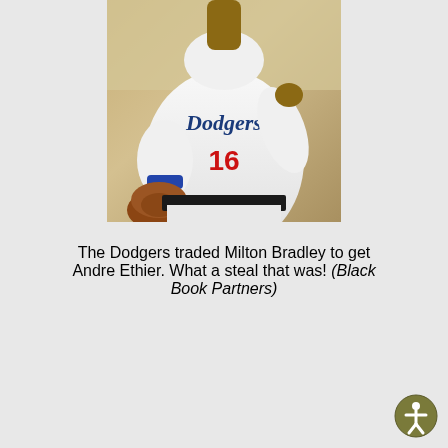[Figure (photo): A baseball player in a white Los Angeles Dodgers jersey with number 16, wearing a brown baseball glove, photographed from the chest down.]
The Dodgers traded Milton Bradley to get Andre Ethier. What a steal that was! (Black Book Partners)